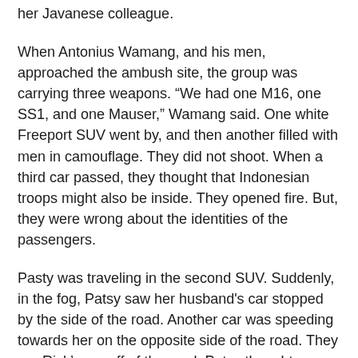her Javanese colleague.
When Antonius Wamang, and his men, approached the ambush site, the group was carrying three weapons. “We had one M16, one SS1, and one Mauser,” Wamang said. One white Freeport SUV went by, and then another filled with men in camouflage. They did not shoot. When a third car passed, they thought that Indonesian troops might also be inside. They opened fire. But, they were wrong about the identities of the passengers.
Pasty was traveling in the second SUV. Suddenly, in the fog, Patsy saw her husband's car stopped by the side of the road. Another car was speeding towards her on the opposite side of the road. They ran Rick’s car off of the road, Patsy thought. Turning around in her seat to get a good look at its license plate, Patsy felt a sharp stab in her side. She had been shot. The windshield shattered. Blood splattered all over the SUV interior.
Wamang does not know who fired the first shot. In the initial burst of gunfire it was hard to tell who was shooting. “With